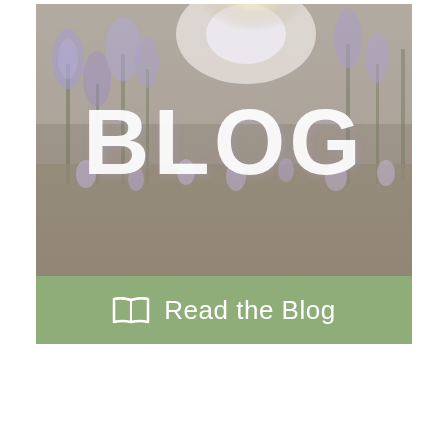[Figure (photo): A card-style image with a lavender/wildflower field in soft warm light as background, with large white rounded 'BLOG' text overlaid in the center-upper area. Below the photo is a sage green bar with a white open book icon and white text 'Read the Blog'.]
Read the Blog